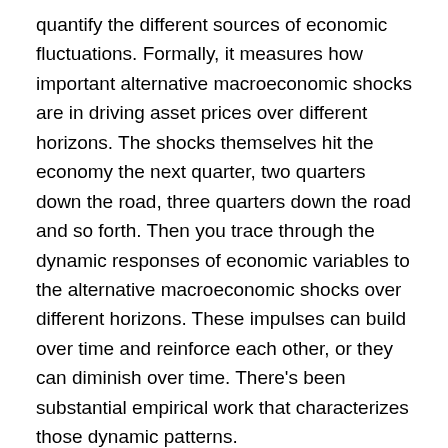quantify the different sources of economic fluctuations. Formally, it measures how important alternative macroeconomic shocks are in driving asset prices over different horizons. The shocks themselves hit the economy the next quarter, two quarters down the road, three quarters down the road and so forth. Then you trace through the dynamic responses of economic variables to the alternative macroeconomic shocks over different horizons. These impulses can build over time and reinforce each other, or they can diminish over time. There's been substantial empirical work that characterizes those dynamic patterns.
The second source of inspiration is from an asset-pricing perspective, where we explore the returns investors must receive as compensation for their exposure to these macroeconomic shocks. Valuation of the cash flows must account for their exposure to macroeconomic shocks.